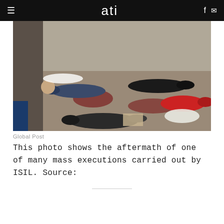ati
[Figure (photo): Photograph showing the aftermath of a mass execution, with multiple bodies lying on the ground in what appears to be a damaged building or outdoor area. The scene shows victims in various clothing including dark jackets and a red garment.]
Global Post
This photo shows the aftermath of one of many mass executions carried out by ISIL. Source: